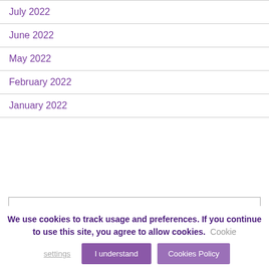July 2022
June 2022
May 2022
February 2022
January 2022
"They have taken the pressure from me by dealing with investments relating to my Court of Protection order for a relation who is now in care."
"I found them to be very efficient, friendly and they have proved to be reliable and trustworthy also easily accessible at all times."
We use cookies to track usage and preferences. If you continue to use this site, you agree to allow cookies. Cookie settings
I understand
Cookies Policy